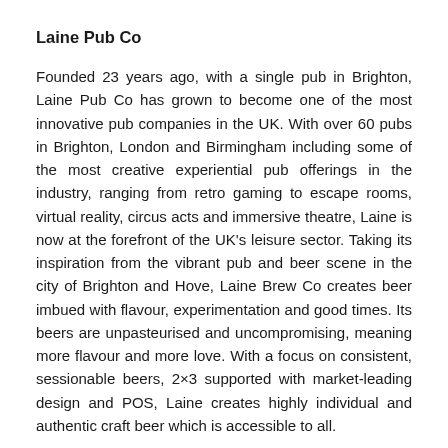Laine Pub Co
Founded 23 years ago, with a single pub in Brighton, Laine Pub Co has grown to become one of the most innovative pub companies in the UK. With over 60 pubs in Brighton, London and Birmingham including some of the most creative experiential pub offerings in the industry, ranging from retro gaming to escape rooms, virtual reality, circus acts and immersive theatre, Laine is now at the forefront of the UK's leisure sector. Taking its inspiration from the vibrant pub and beer scene in the city of Brighton and Hove, Laine Brew Co creates beer imbued with flavour, experimentation and good times. Its beers are unpasteurised and uncompromising, meaning more flavour and more love. With a focus on consistent, sessionable beers, 2×3 supported with market-leading design and POS, Laine creates highly individual and authentic craft beer which is accessible to all.